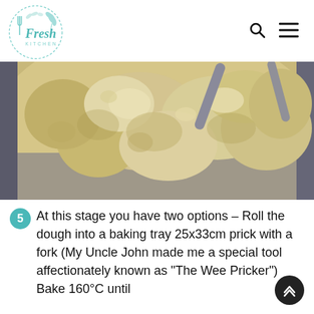Fresh Kitchen
[Figure (photo): Close-up photo of crumbly shortbread dough in a mixing bowl with a spatula/pastry cutter visible at the top]
At this stage you have two options – Roll the dough into a baking tray 25x33cm prick with a fork (My Uncle John made me a special tool affectionately known as "The Wee Pricker") Bake 160°C until